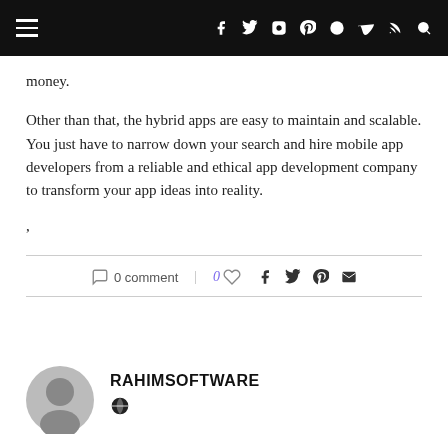Navigation header with hamburger menu and social icons (Facebook, Twitter, Instagram, Pinterest, Snapchat, Vimeo, RSS, Search)
money.
Other than that, the hybrid apps are easy to maintain and scalable. You just have to narrow down your search and hire mobile app developers from a reliable and ethical app development company to transform your app ideas into reality.
,
0 comment | 0 ♥ share icons
RAHIMSOFTWARE